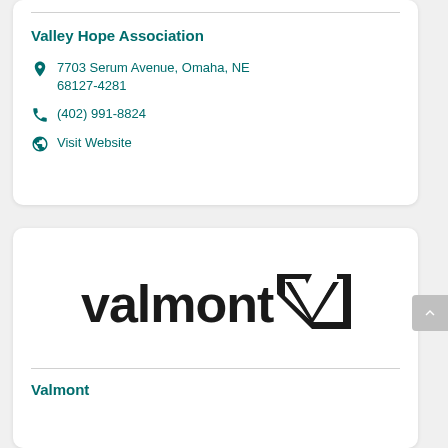Valley Hope Association
7703 Serum Avenue, Omaha, NE 68127-4281
(402) 991-8824
Visit Website
[Figure (logo): Valmont logo with stylized V chevron mark]
Valmont